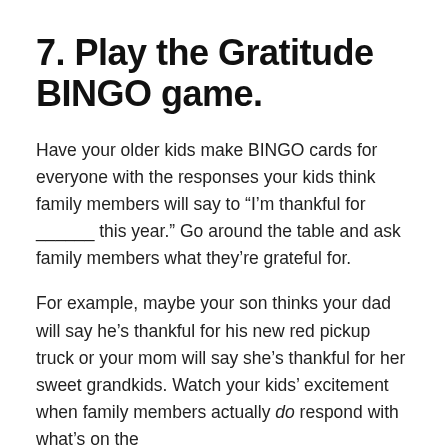7. Play the Gratitude BINGO game.
Have your older kids make BINGO cards for everyone with the responses your kids think family members will say to “I’m thankful for ______ this year.” Go around the table and ask family members what they’re grateful for.
For example, maybe your son thinks your dad will say he’s thankful for his new red pickup truck or your mom will say she’s thankful for her sweet grandkids. Watch your kids’ excitement when family members actually do respond with what’s on the